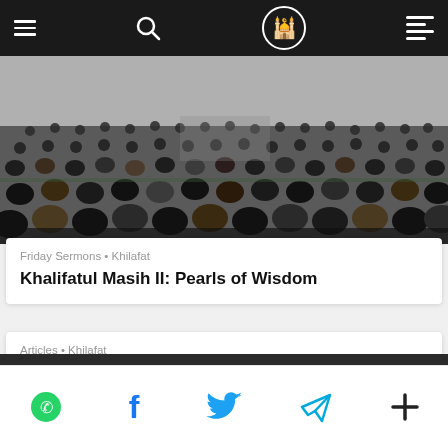Navigation bar with menu, search, logo, and list icons
[Figure (photo): Large group of people sitting in rows inside a mosque or prayer hall, viewed from behind, with a speaker or imam at the front.]
Friday Sermons • Khilafat
Khalifatul Masih II: Pearls of Wisdom
Articles • Khilafat
Message to Arab world on 'Khilafat Day'
Share icons: WhatsApp, Facebook, Twitter, Telegram, More